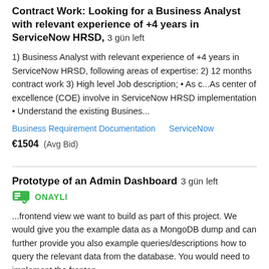Contract Work: Looking for a Business Analyst with relevant experience of +4 years in ServiceNow HRSD, 3 gün left
1) Business Analyst with relevant experience of +4 years in ServiceNow HRSD, following areas of expertise: 2) 12 months contract work 3) High level Job description; • As c...As center of excellence (COE) involve in ServiceNow HRSD implementation • Understand the existing Busines...
Business Requirement Documentation   ServiceNow
€1504  (Avg Bid)
Prototype of an Admin Dashboard  3 gün left
ONAYLI
...frontend view we want to build as part of this project. We would give you the example data as a MongoDB dump and can further provide you also example queries/descriptions how to query the relevant data from the database. You would need to implement the fronten...